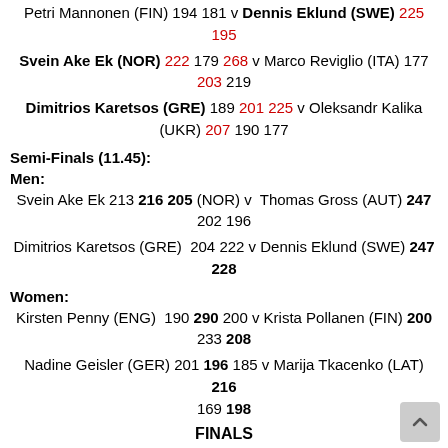Petri Mannonen (FIN) 194 181 v Dennis Eklund (SWE) 225 195
Svein Ake Ek (NOR) 222 179 268 v Marco Reviglio (ITA) 177 203 219
Dimitrios Karetsos (GRE) 189 201 225 v Oleksandr Kalika (UKR) 207 190 177
Semi-Finals (11.45):
Men:
Svein Ake Ek 213 216 205 (NOR) v Thomas Gross (AUT) 247 202 196
Dimitrios Karetsos (GRE) 204 222 v Dennis Eklund (SWE) 247 228
Women:
Kirsten Penny (ENG) 190 290 200 v Krista Pollanen (FIN) 200 233 208
Nadine Geisler (GER) 201 196 185 v Marija Tkacenko (LAT) 216 169 198
FINALS
Krista Pollanen 237 183 v Marija Tkacenko 187 157